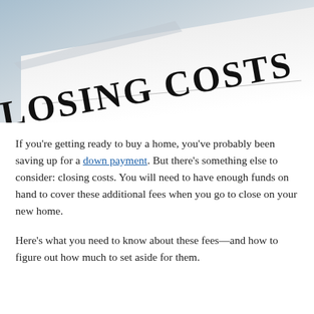[Figure (photo): A document with 'CLOSING COSTS' printed in large bold serif letters, shown at an angle on a light gray surface.]
If you're getting ready to buy a home, you've probably been saving up for a down payment. But there's something else to consider: closing costs. You will need to have enough funds on hand to cover these additional fees when you go to close on your new home.
Here's what you need to know about these fees—and how to figure out how much to set aside for them.